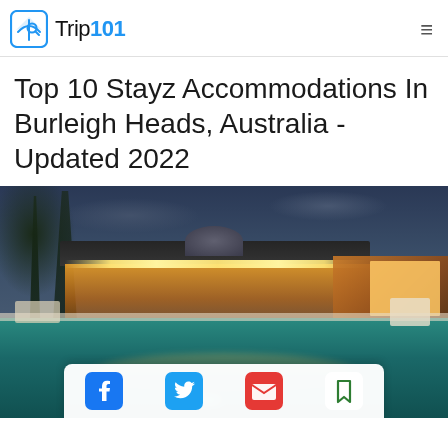Trip101
Top 10 Stayz Accommodations In Burleigh Heads, Australia - Updated 2022
[Figure (photo): Luxury vacation home with illuminated pavilion and swimming pool at dusk in Burleigh Heads, Australia. Palm trees visible on the left, warm interior lighting on the right side building.]
[Figure (infographic): Social sharing bar with Facebook, Twitter, Email, and Bookmark icons]